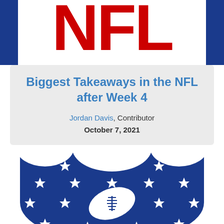[Figure (logo): NFL logo header — large red NFL letters on white background with dark blue side bars]
Biggest Takeaways in the NFL after Week 4
Jordan Davis, Contributor
October 7, 2021
[Figure (logo): NFL shield logo — dark blue shield with white stars arranged in rows and a white football in the center, shown cropped]